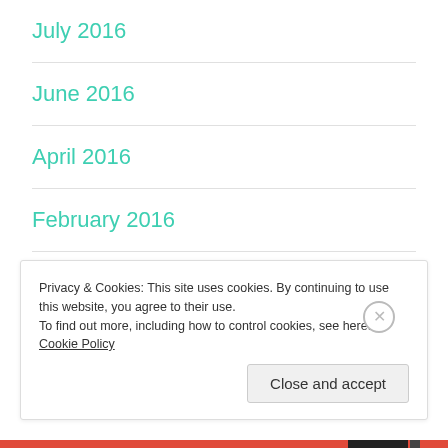July 2016
June 2016
April 2016
February 2016
October 2015
September 2015
Privacy & Cookies: This site uses cookies. By continuing to use this website, you agree to their use.
To find out more, including how to control cookies, see here: Cookie Policy
Close and accept